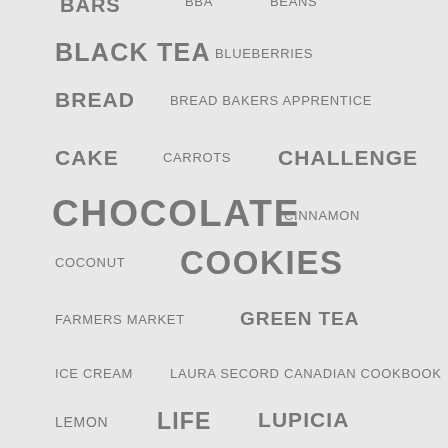[Figure (infographic): Tag cloud showing food and lifestyle keywords in varying font sizes. Words include: BARS, BBA, BEANS, BLACK TEA, BLUEBERRIES, BREAD, BREAD BAKERS APPRENTICE, CAKE, CARROTS, CHALLENGE, CHOCOLATE, CINNAMON, COCONUT, COOKIES, FARMERS MARKET, GREEN TEA, ICE CREAM, LAURA SECORD CANADIAN COOKBOOK, LEMON, LIFE, LUPICIA]